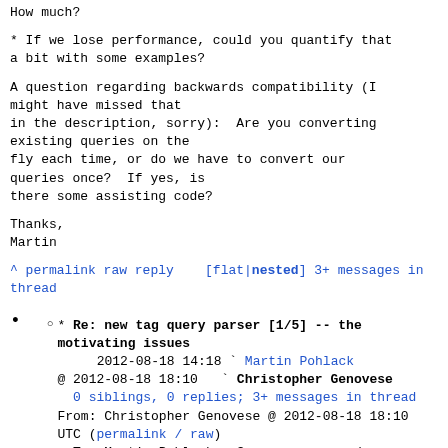How much?
* If we lose performance, could you quantify that a bit with some examples?
A question regarding backwards compatibility (I might have missed that in the description, sorry):  Are you converting existing queries on the fly each time, or do we have to convert our queries once?  If yes, is there some assisting code?
Thanks,
Martin
^ permalink raw reply    [flat|nested] 3+ messages in thread
* Re: new tag query parser [1/5] -- the motivating issues
2012-08-18 14:18 ` Martin Pohlack
@ 2012-08-18 18:10   ` Christopher Genovese
  0 siblings, 0 replies; 3+ messages in thread
From: Christopher Genovese @ 2012-08-18 18:10 UTC (permalink / raw)
To: Martin Pohlack; +Cc: emacs-orgmode